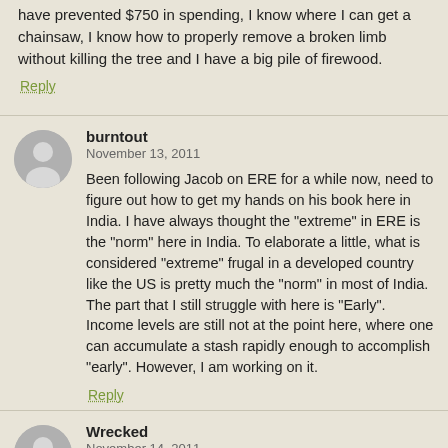have prevented $750 in spending, I know where I can get a chainsaw, I know how to properly remove a broken limb without killing the tree and I have a big pile of firewood.
Reply
burntout
November 13, 2011
Been following Jacob on ERE for a while now, need to figure out how to get my hands on his book here in India. I have always thought the "extreme" in ERE is the "norm" here in India. To elaborate a little, what is considered "extreme" frugal in a developed country like the US is pretty much the "norm" in most of India. The part that I still struggle with here is "Early". Income levels are still not at the point here, where one can accumulate a stash rapidly enough to accomplish "early". However, I am working on it.
Reply
Wrecked
November 14, 2011
Your experience is exactly like mine. I live in Jamaica